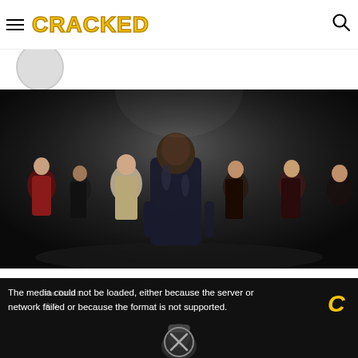CRACKED
[Figure (photo): Group of people in a dark setting, appearing to be a scene from a horror or action film. A large man in a black jacket stands center, flanked by several others in various costumes.]
[Figure (screenshot): Video player with black background showing error message: 'The media could not be loaded, either because the server or network failed or because the format is not supported.' Cracked logo C visible top right. Close/X button overlay at bottom center.]